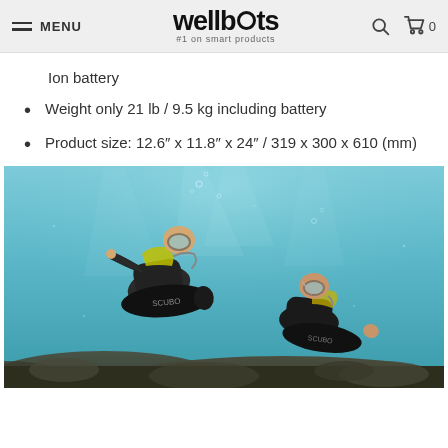MENU | wellbots #1 on smart products | [search] [cart] 0
Ion battery
Weight only 21 lb / 9.5 kg including battery
Product size: 12.6" x 11.8" x 24" / 319 x 300 x 610 (mm)
[Figure (photo): Two scuba divers underwater, each holding a black underwater scooter/DPV device. They are surrounded by clear blue water with rocky reef below.]